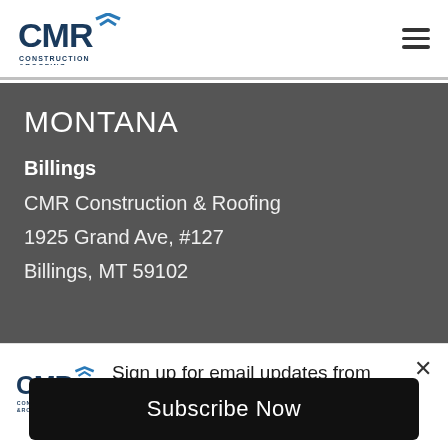[Figure (logo): CMR Construction & Roofing logo in header, dark blue text with stylized M and roofline graphic]
MONTANA
Billings
CMR Construction & Roofing
1925 Grand Ave, #127
Billings, MT 59102
[Figure (logo): CMR Construction & Roofing logo in popup notification area]
Sign up for email updates from CMR Construction
Subscribe Now